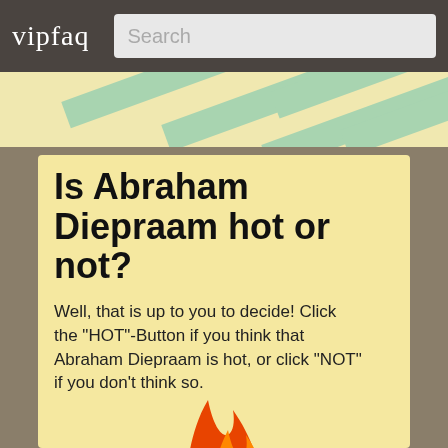vipfaq | Search
[Figure (illustration): Diagonal green/mint stripes on light yellow banner background]
Is Abraham Diepraam hot or not?
Well, that is up to you to decide! Click the "HOT"-Button if you think that Abraham Diepraam is hot, or click "NOT" if you don't think so.
[Figure (illustration): Hot or Not logo with flames graphic showing 'Hot' text in dark red with flames and 'NOT' text below, on a flame/fire background with red and orange colors]